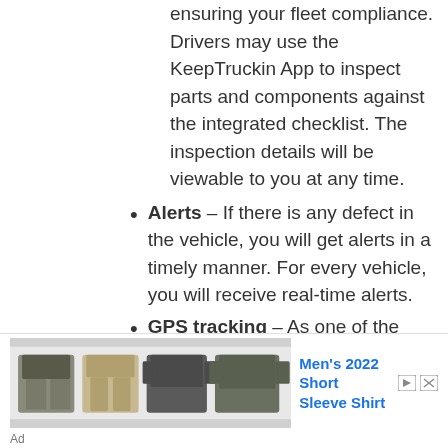ensuring your fleet compliance. Drivers may use the KeepTruckin App to inspect parts and components against the integrated checklist. The inspection details will be viewable to you at any time.
Alerts – If there is any defect in the vehicle, you will get alerts in a timely manner. For every vehicle, you will receive real-time alerts.
GPS tracking – As one of the best fleet management solutions, KeepTruckin helps you have real-time information about your trucks with GPS technology. The location history reveals the routes followed by drivers. On the dashboard, you can easily find vehicle data
[Figure (other): Advertisement banner for Men's 2022 Short Sleeve Shirt showing clothing items including shorts, pants, and shirts in military/tactical style]
Ad